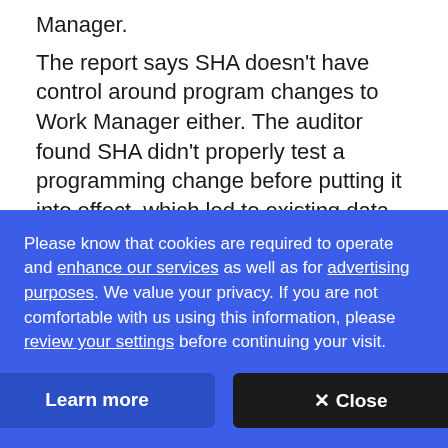Manager.
The report says SHA doesn't have control around program changes to Work Manager either. The auditor found SHA didn't properly test a programming change before putting it into effect, which led to existing data being deleted.
ADVERTISEMENT
Please know that cookies are required to operate and enhance our services as well as for advertising purposes. We value your privacy. If you are not comfortable with us using this information, please review your settings before continuing your visit.